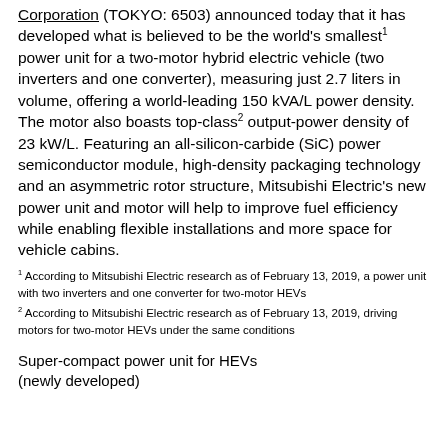Corporation (TOKYO: 6503) announced today that it has developed what is believed to be the world's smallest¹ power unit for a two-motor hybrid electric vehicle (two inverters and one converter), measuring just 2.7 liters in volume, offering a world-leading 150 kVA/L power density. The motor also boasts top-class² output-power density of 23 kW/L. Featuring an all-silicon-carbide (SiC) power semiconductor module, high-density packaging technology and an asymmetric rotor structure, Mitsubishi Electric's new power unit and motor will help to improve fuel efficiency while enabling flexible installations and more space for vehicle cabins.
¹ According to Mitsubishi Electric research as of February 13, 2019, a power unit with two inverters and one converter for two-motor HEVs
² According to Mitsubishi Electric research as of February 13, 2019, driving motors for two-motor HEVs under the same conditions
Super-compact power unit for HEVs (newly developed)